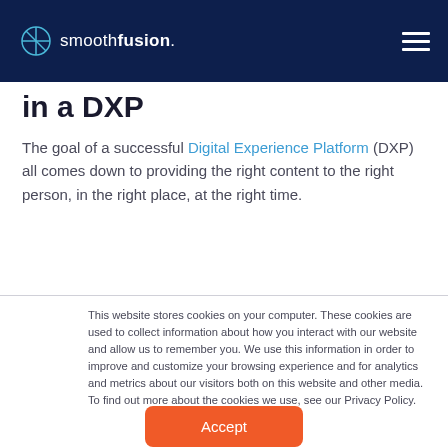smoothfusion. [navigation menu]
in a DXP
The goal of a successful Digital Experience Platform (DXP) all comes down to providing the right content to the right person, in the right place, at the right time.
This website stores cookies on your computer. These cookies are used to collect information about how you interact with our website and allow us to remember you. We use this information in order to improve and customize your browsing experience and for analytics and metrics about our visitors both on this website and other media. To find out more about the cookies we use, see our Privacy Policy.
Accept